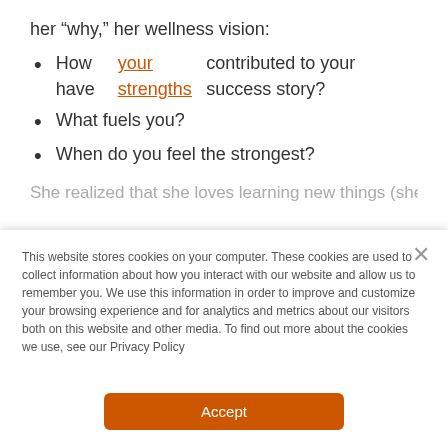her “why,” her wellness vision:
How have your strengths contributed to your success story?
What fuels you?
When do you feel the strongest?
She realized that she loves learning new things (she is
This website stores cookies on your computer. These cookies are used to collect information about how you interact with our website and allow us to remember you. We use this information in order to improve and customize your browsing experience and for analytics and metrics about our visitors both on this website and other media. To find out more about the cookies we use, see our Privacy Policy
Accept